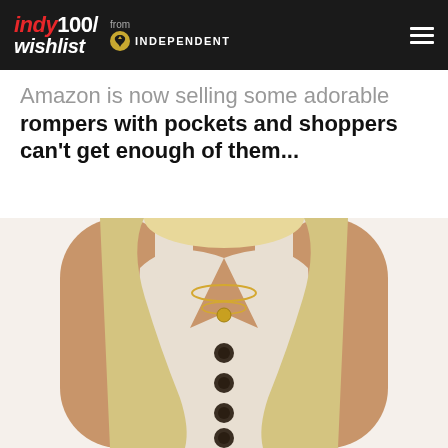indy100/ wishlist from INDEPENDENT
Amazon is now selling some adorable rompers with pockets and shoppers can't get enough of them...
[Figure (photo): Product photo of a woman wearing a beige/cream sleeveless V-neck button-front romper with gold chain necklaces. Only torso and lower neck visible. Blonde hair visible. Three dark buttons down the front.]